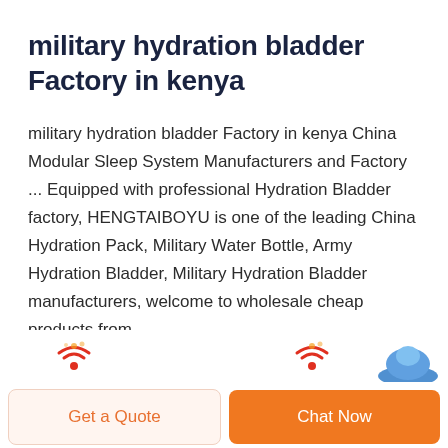military hydration bladder Factory in kenya
military hydration bladder Factory in kenya China Modular Sleep System Manufacturers and Factory ... Equipped with professional Hydration Bladder factory, HENGTAIBOYU is one of the leading China Hydration Pack, Military Water Bottle, Army Hydration Bladder, Military Hydration Bladder manufacturers, welcome to wholesale cheap products from ...
[Figure (other): Partial view of product icons/logos and two call-to-action buttons: 'Get a Quote' and 'Chat Now']